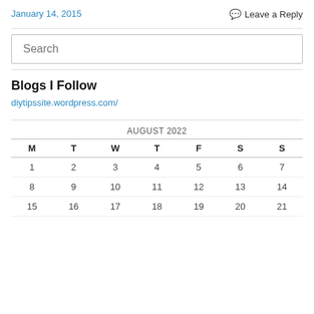January 14, 2015
Leave a Reply
Blogs I Follow
diytipssite.wordpress.com/
| M | T | W | T | F | S | S |
| --- | --- | --- | --- | --- | --- | --- |
| 1 | 2 | 3 | 4 | 5 | 6 | 7 |
| 8 | 9 | 10 | 11 | 12 | 13 | 14 |
| 15 | 16 | 17 | 18 | 19 | 20 | 21 |